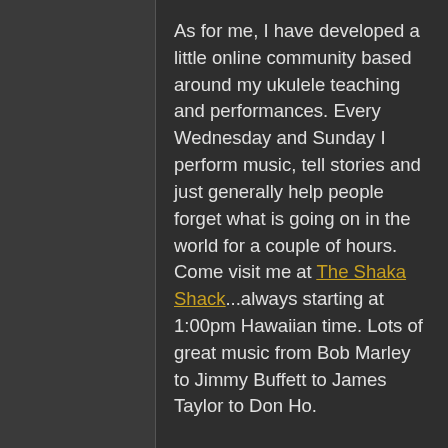As for me, I have developed a little online community based around my ukulele teaching and performances. Every Wednesday and Sunday I perform music, tell stories and just generally help people forget what is going on in the world for a couple of hours. Come visit me at The Shaka Shack...always starting at 1:00pm Hawaiian time. Lots of great music from Bob Marley to Jimmy Buffett to James Taylor to Don Ho.
Every Friday and every other Saturday, I run the Ukuleleville Play-Alongs for ukulele players and enthusiasts from all around the world. It keep me busy, and I'm up nice and early every day getting music prepped, tracks recorded and just